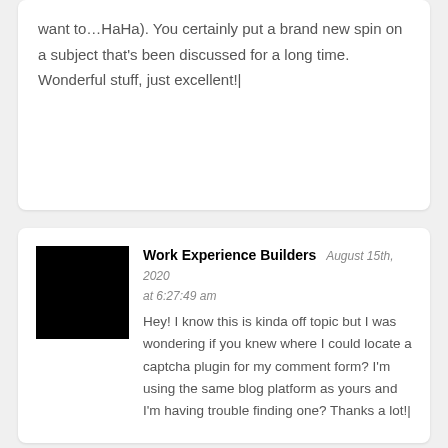want to…HaHa). You certainly put a brand new spin on a subject that's been discussed for a long time. Wonderful stuff, just excellent!|
Work Experience Builders August 15th, 2020 at 6:27:49 am
Hey! I know this is kinda off topic but I was wondering if you knew where I could locate a captcha plugin for my comment form? I'm using the same blog platform as yours and I'm having trouble finding one? Thanks a lot!|
orlando window tints August 14th, 2020 at 11:26:10 pm
I've bookmarked this page. I'll be back to read your next article